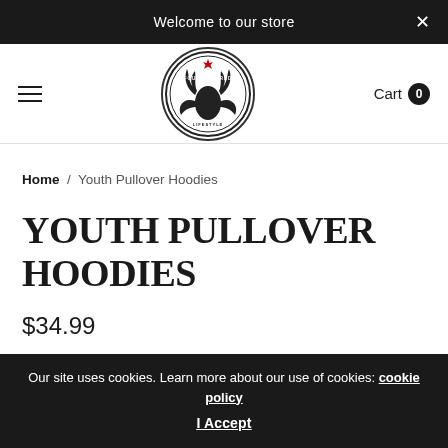Welcome to our store
[Figure (logo): Four Hundred North Lifestyle circular logo with moose/antler crest emblem in black and white]
Cart 0
Home / Youth Pullover Hoodies
YOUTH PULLOVER HOODIES
$34.99
Our site uses cookies. Learn more about our use of cookies: cookie policy
I Accept